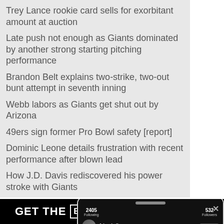Trey Lance rookie card sells for exorbitant amount at auction
Late push not enough as Giants dominated by another strong starting pitching performance
Brandon Belt explains two-strike, two-out bunt attempt in seventh inning
Webb labors as Giants get shut out by Arizona
49ers sign former Pro Bowl safety [report]
Dominic Leone details frustration with recent performance after blown lead
How J.D. Davis rediscovered his power stroke with Giants
[Figure (screenshot): Bleacher Report app advertisement with black background showing 'GET THE B|R APP' and 'YOUR TEAMS ARE HERE' text alongside a phone screenshot showing the app interface with team icons for Featured, Lakers, Liverpool, and House of]